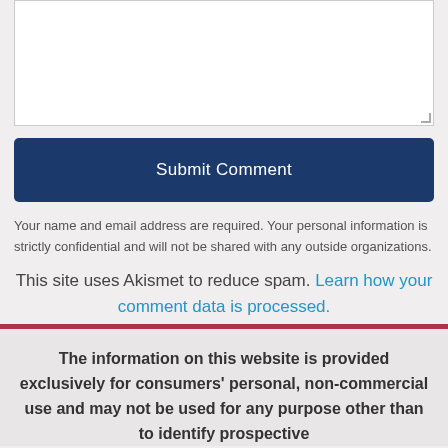[Figure (screenshot): Textarea input box with resize handle at bottom-right corner]
Submit Comment
Your name and email address are required. Your personal information is strictly confidential and will not be shared with any outside organizations.
This site uses Akismet to reduce spam. Learn how your comment data is processed.
The information on this website is provided exclusively for consumers' personal, non-commercial use and may not be used for any purpose other than to identify prospective